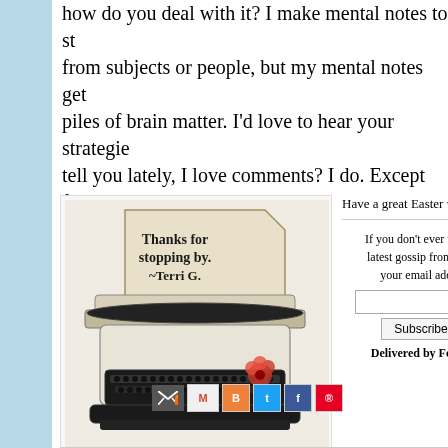how do you deal with it? I make mental notes to steer away from subjects or people, but my mental notes get lost in piles of brain matter. I'd love to hear your strategies. Did I tell you lately, I love comments? I do. Except for go spammers.
[Figure (illustration): A vintage typewriter with a paper sheet reading 'Thanks for stopping by. ~Terri G.' and a red flower decoration]
Have a great Easter we
If you don't ever want to miss the latest gossip from Terri... enter your email address:
Subscribe
Delivered by FeedB